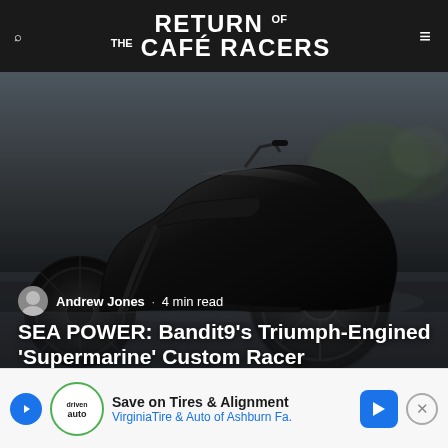RETURN OF THE CAFÉ RACERS
[Figure (photo): Dark, sleek custom motorcycle (Bandit9 Supermarine) photographed on pavement, predominantly black, futuristic streamlined design with wide rear tire]
Andrew Jones · 4 min read
SEA POWER: Bandit9's Triumph-Engined 'Supermarine' Custom Racer
'Having a mind for the details of this — [saying —but t] ... of
[Figure (infographic): Advertisement banner: Save on Tires & Alignment — Virginia Tire & Auto of Ashburn Fa.]